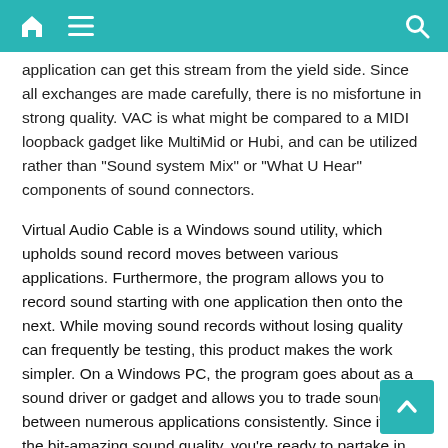[Navigation bar with home, menu, and search icons]
application can get this stream from the yield side. Since all exchanges are made carefully, there is no misfortune in strong quality. VAC is what might be compared to a MIDI loopback gadget like MultiMid or Hubi, and can be utilized rather than "Sound system Mix" or "What U Hear" components of sound connectors.
Virtual Audio Cable is a Windows sound utility, which upholds sound record moves between various applications. Furthermore, the program allows you to record sound starting with one application then onto the next. While moving sound records without losing quality can frequently be testing, this product makes the work simpler. On a Windows PC, the program goes about as a sound driver or gadget and allows you to trade sound between numerous applications consistently. Since it holds the bit-amazing sound quality, you’re ready to partake in the most flawless sound conceivable on your PC.
Feature key: